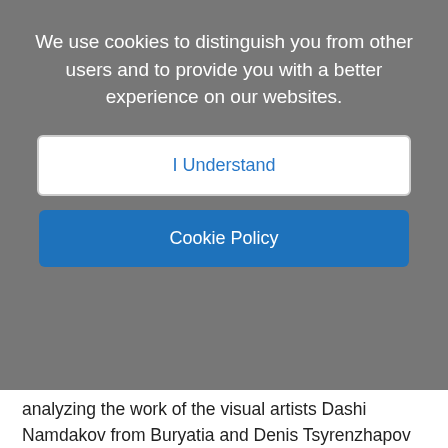We use cookies to distinguish you from other users and to provide you with a better experience on our websites.
I Understand
Cookie Policy
analyzing the work of the visual artists Dashi Namdakov from Buryatia and Denis Tsyrenzhapov from Yakutia.
Category: Ukraine
Daria Mattingly (U of Cambridge, Slavic Studies, UK )
This paper advances an interdisciplinary examination of the identities, activities and memorial traces of the rank-and-file perpetrators of the 1932-33 Famine in Ukraine, known as the Holodomor. While Stalin and his